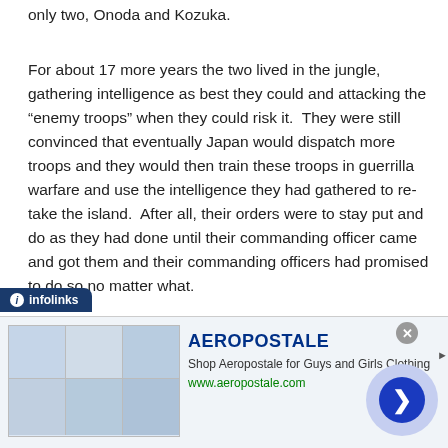only two, Onoda and Kozuka.
For about 17 more years the two lived in the jungle, gathering intelligence as best they could and attacking the “enemy troops” when they could risk it.  They were still convinced that eventually Japan would dispatch more troops and they would then train these troops in guerrilla warfare and use the intelligence they had gathered to re-take the island.  After all, their orders were to stay put and do as they had done until their commanding officer came and got them and their commanding officers had promised to do so no matter what.
[Figure (screenshot): Infolinks advertisement banner for Aeropostale clothing store showing brand name, description 'Shop Aeropostale for Guys and Girls Clothing', URL www.aeropostale.com, clothing product thumbnail images, and a navigation arrow button]